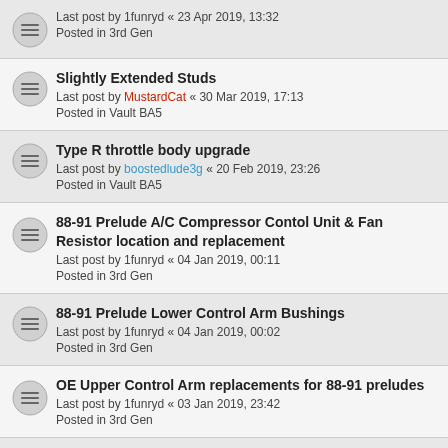Last post by 1funryd « 23 Apr 2019, 13:32
Posted in 3rd Gen
Slightly Extended Studs
Last post by MustardCat « 30 Mar 2019, 17:13
Posted in Vault BA5
Type R throttle body upgrade
Last post by boostedlude3g « 20 Feb 2019, 23:26
Posted in Vault BA5
88-91 Prelude A/C Compressor Contol Unit & Fan Resistor location and replacement
Last post by 1funryd « 04 Jan 2019, 00:11
Posted in 3rd Gen
88-91 Prelude Lower Control Arm Bushings
Last post by 1funryd « 04 Jan 2019, 00:02
Posted in 3rd Gen
OE Upper Control Arm replacements for 88-91 preludes
Last post by 1funryd « 03 Jan 2019, 23:42
Posted in 3rd Gen
88-91 Prelude Big Brake Upgrade – 92-96 Prelude